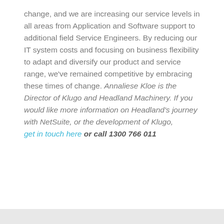change, and we are increasing our service levels in all areas from Application and Software support to additional field Service Engineers. By reducing our IT system costs and focusing on business flexibility to adapt and diversify our product and service range, we've remained competitive by embracing these times of change. Annaliese Kloe is the Director of Klugo and Headland Machinery. If you would like more information on Headland's journey with NetSuite, or the development of Klugo, get in touch here or call 1300 766 011